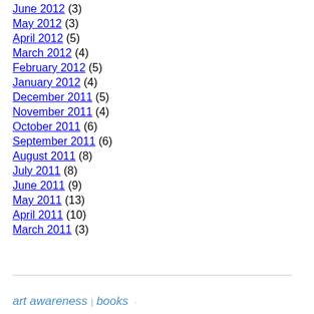June 2012 (3)
May 2012 (3)
April 2012 (5)
March 2012 (4)
February 2012 (5)
January 2012 (4)
December 2011 (5)
November 2011 (4)
October 2011 (6)
September 2011 (6)
August 2011 (8)
July 2011 (8)
June 2011 (9)
May 2011 (13)
April 2011 (10)
March 2011 (3)
art awareness books